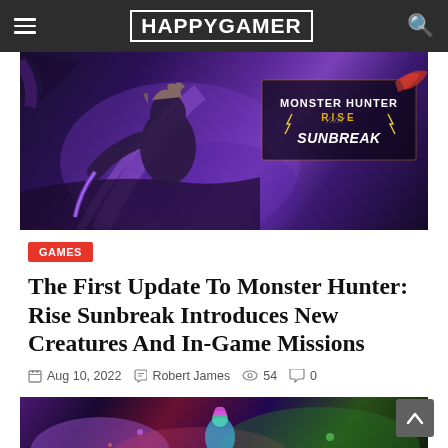HAPPYGAMER
[Figure (photo): Monster Hunter Rise: Sunbreak game promotional banner showing an armored hunter character with the game logo in the upper right corner against a dark purple/blue background]
GAMES
The First Update To Monster Hunter: Rise Sunbreak Introduces New Creatures And In-Game Missions
Aug 10, 2022   Robert James   54   0
[Figure (photo): Partial view of another game article image showing colorful characters in an action scene with purple and green colors]